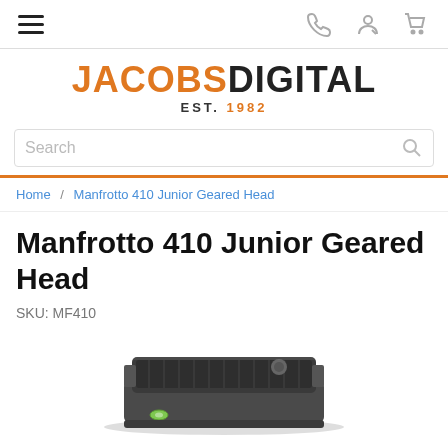Navigation bar with hamburger menu, phone, account, and cart icons
[Figure (logo): JACOBSDIGITAL EST. 1982 logo with JACOBS in orange and DIGITAL in black]
Search
Home / Manfrotto 410 Junior Geared Head
Manfrotto 410 Junior Geared Head
SKU: MF410
[Figure (photo): Manfrotto 410 Junior Geared Head camera accessory, dark grey metal quick release plate with knob, viewed from above at an angle]